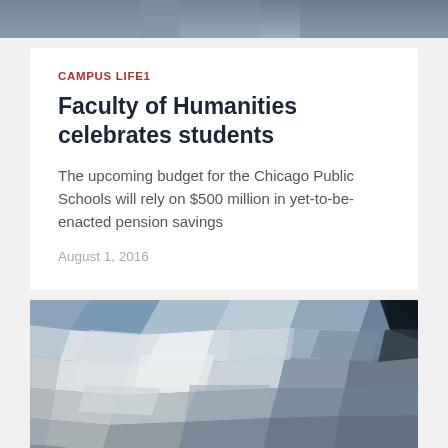[Figure (photo): Abstract low-poly mosaic image at the top of the page, showing blurred human figure in blue/grey tones]
CAMPUS LIFE1
Faculty of Humanities celebrates students
The upcoming budget for the Chicago Public Schools will rely on $500 million in yet-to-be-enacted pension savings
August 1, 2016
[Figure (illustration): Abstract low-poly geometric mosaic illustration with blue, grey, white, and dark polygon shapes creating a mosaic/crystal effect]